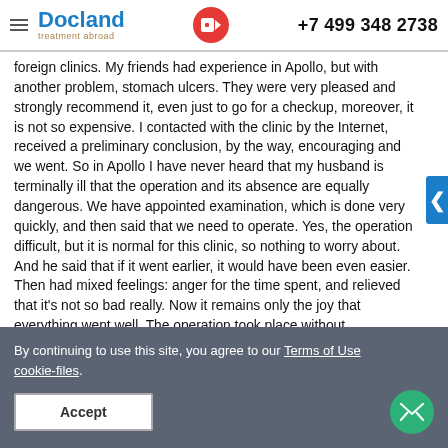Docland treatment abroad | +7 499 348 2738
foreign clinics. My friends had experience in Apollo, but with another problem, stomach ulcers. They were very pleased and strongly recommend it, even just to go for a checkup, moreover, it is not so expensive. I contacted with the clinic by the Internet, received a preliminary conclusion, by the way, encouraging and we went. So in Apollo I have never heard that my husband is terminally ill that the operation and its absence are equally dangerous. We have appointed examination, which is done very quickly, and then said that we need to operate. Yes, the operation difficult, but it is normal for this clinic, so nothing to worry about. And he said that if it went earlier, it would have been even easier. Then had mixed feelings: anger for the time spent, and relieved that it's not so bad really. Now it remains only the joy that everything went well. The operation took place without complications, it has been 2 years we are observed, but no problem.
Evgeniya     Dec 5, 2016
By continuing to use this site, you agree to our Terms of Use cookie-files.